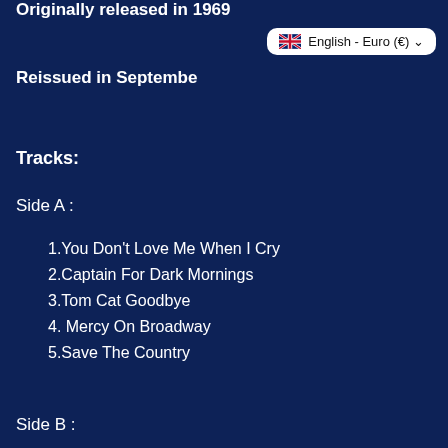Originally released in 1969
Reissued in September
[Figure (screenshot): Language selector button showing UK flag and text 'English - Euro (€)' with dropdown arrow]
Tracks:
Side A :
1.You Don't Love Me When I Cry
2.Captain For Dark Mornings
3.Tom Cat Goodbye
4. Mercy On Broadway
5.Save The Country
Side B :